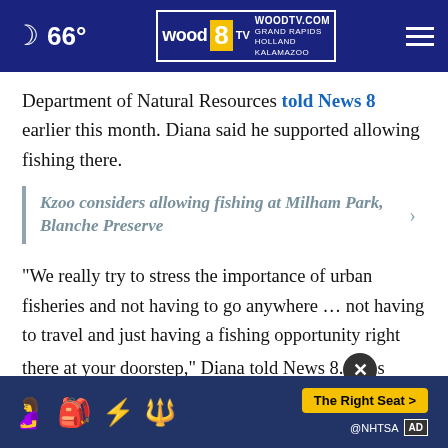66° WOOD 8 TV WOODTV.COM GRAND RAPIDS HOLLAND KALAMAZOO
Department of Natural Resources told News 8 earlier this month. Diana said he supported allowing fishing there.
Kzoo considers allowing fishing at Milham Park, Blanche Preserve
“We really try to stress the importance of urban fisheries and not having to go anywhere … not having to travel and just having a fishing opportunity right there at your doorstep,” Diana told News 8. …s really impor… world.